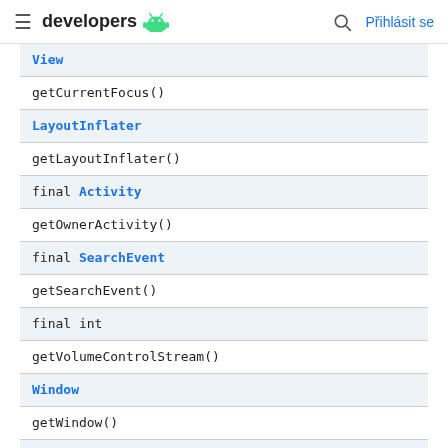developers
| View |
| getCurrentFocus() |
| LayoutInflater |
| getLayoutInflater() |
| final Activity |
| getOwnerActivity() |
| final SearchEvent |
| getSearchEvent() |
| final int |
| getVolumeControlStream() |
| Window |
| getWindow() |
| void |
| hide() |